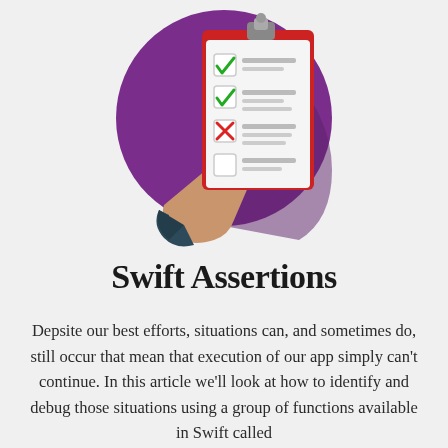[Figure (illustration): A hand holding a red clipboard with a checklist. The clipboard shows two green checkmarks, one red X, and one empty checkbox, with lines representing text. The background is a purple circle with a shadow effect.]
Swift Assertions
Depsite our best efforts, situations can, and sometimes do, still occur that mean that execution of our app simply can't continue. In this article we'll look at how to identify and debug those situations using a group of functions available in Swift called